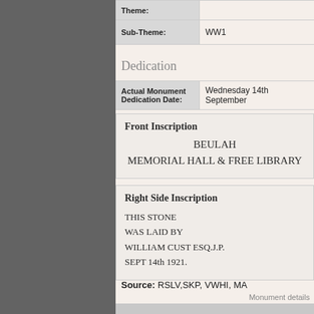| Label | Value |
| --- | --- |
| Theme: |  |
| Sub-Theme: | WW1 |
Dedication
| Label | Value |
| --- | --- |
| Actual Monument Dedication Date: | Wednesday 14th September |
Front Inscription
BEULAH
MEMORIAL HALL & FREE LIBRARY
Right Side Inscription
THIS STONE
WAS LAID BY
WILLIAM CUST ESQ.J.P.
SEPT 14th 1921.
Source: RSLV,SKP, VWHI, MA
Monument details